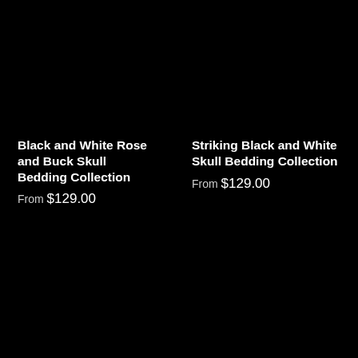Black and White Rose and Buck Skull Bedding Collection
From $129.00
Striking Black and White Skull Bedding Collection
From $129.00